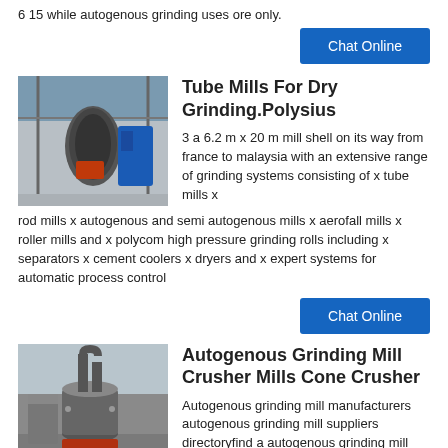6 15 while autogenous grinding uses ore only.
Chat Online
Tube Mills For Dry Grinding.Polysius
[Figure (photo): Industrial grinding mill machinery inside a large factory building, showing large cylindrical equipment with blue machinery visible.]
3 a 6.2 m x 20 m mill shell on its way from france to malaysia with an extensive range of grinding systems consisting of x tube mills x rod mills x autogenous and semi autogenous mills x aerofall mills x roller mills and x polycom high pressure grinding rolls including x separators x cement coolers x dryers and x expert systems for automatic process control
Chat Online
Autogenous Grinding Mill Crusher Mills Cone Crusher
[Figure (photo): Industrial autogenous grinding mill equipment, showing large grey cylindrical industrial machinery with pipes and supports.]
Autogenous grinding mill manufacturers autogenous grinding mill suppliers directoryfind a autogenous grinding mill